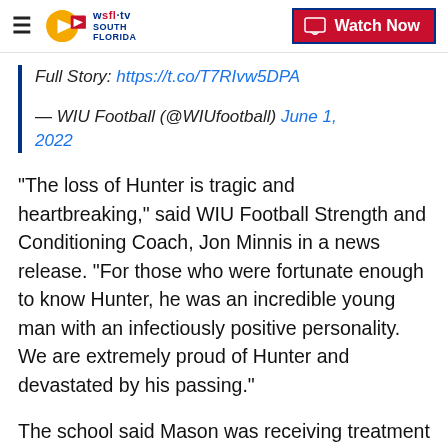WSFL-TV South Florida — Watch Now
Full Story: https://t.co/T7RIvw5DPA
— WIU Football (@WIUfootball) June 1, 2022
"The loss of Hunter is tragic and heartbreaking," said WIU Football Strength and Conditioning Coach, Jon Minnis in a news release. "For those who were fortunate enough to know Hunter, he was an incredible young man with an infectiously positive personality. We are extremely proud of Hunter and devastated by his passing."
The school said Mason was receiving treatment for his battle against glioblastoma, an aggressive form of